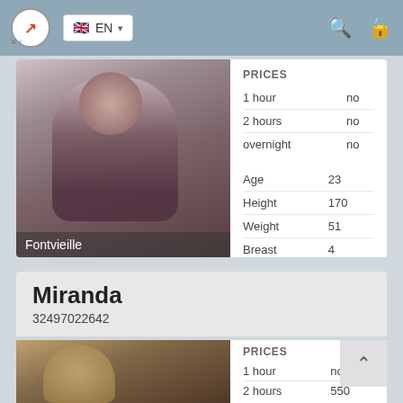EN
[Figure (photo): Woman in purple lingerie posing against a wall]
Fontvieille
| PRICES |  |
| --- | --- |
| 1 hour | no |
| 2 hours | no |
| overnight | no |
| Age | 23 |
| Height | 170 |
| Weight | 51 |
| Breast | 4 |
Miranda
32497022642
[Figure (photo): Blonde woman in dim lighting]
| PRICES |  |
| --- | --- |
| 1 hour | no |
| 2 hours | 550 |